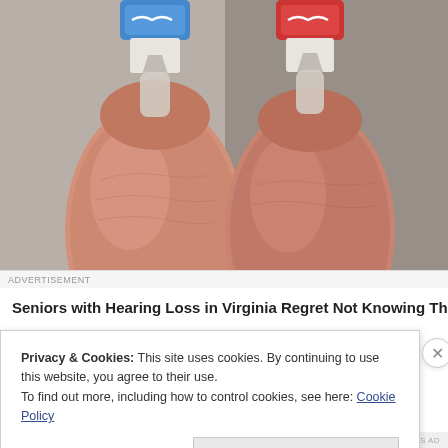[Figure (photo): Two human fingers holding small hearing aid devices — one with a blue top and one with a red top — against a blurred gray background. Close-up macro photograph.]
Seniors with Hearing Loss in Virginia Regret Not Knowing This Soone
Privacy & Cookies: This site uses cookies. By continuing to use this website, you agree to their use.
To find out more, including how to control cookies, see here: Cookie Policy
Close and accept
REPORT THIS AD                    REPORT THIS AD